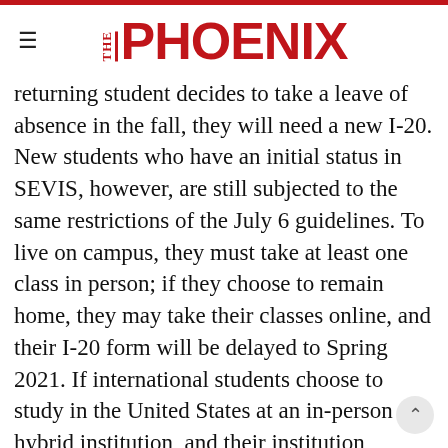THE PHOENIX
returning student decides to take a leave of absence in the fall, they will need a new I-20. New students who have an initial status in SEVIS, however, are still subjected to the same restrictions of the July 6 guidelines. To live on campus, they must take at least one class in person; if they choose to remain home, they may take their classes online, and their I-20 form will be delayed to Spring 2021. If international students choose to study in the United States at an in-person or hybrid institution, and their institution switches to a fully-online curriculum midway through a semester, the FAQ document also states that the international student will